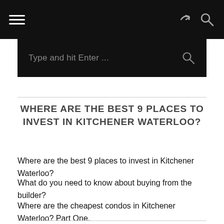[Navigation bar with hamburger menu, share icon, and search icon]
[Figure (other): Search bar with placeholder text 'Type and hit Enter ...' and search icon on dark background]
WHERE ARE THE BEST 9 PLACES TO INVEST IN KITCHENER WATERLOO?
Where are the best 9 places to invest in Kitchener Waterloo?
What do you need to know about buying from the builder?
Where are the cheapest condos in Kitchener Waterloo? Part One.